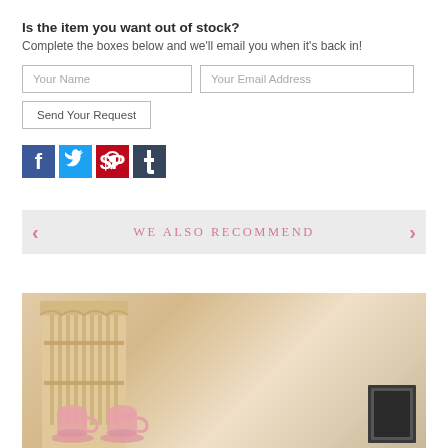Is the item you want out of stock?
Complete the boxes below and we'll email you when it's back in!
[Figure (screenshot): Web form with 'Your Name' and 'Your Email Address' input fields and a 'Send Your Request' button]
[Figure (infographic): Social media share icons: Facebook (blue), Twitter (light blue), Pinterest (red), Tumblr (dark blue)]
WE ALSO RECOMMEND
[Figure (photo): Photo of a wooden cabinet/dresser with pink cups and decorative items on shelves]